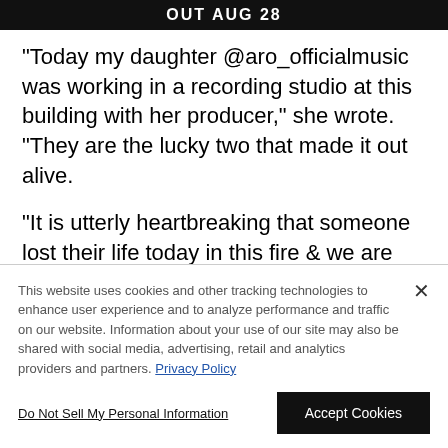[Figure (photo): Dark banner image with white bold text reading 'OUT AUG 28' and a small logo/emblem on the right]
"Today my daughter @aro_officialmusic was working in a recording studio at this building with her producer," she wrote. "They are the lucky two that made it out alive.
"It is utterly heartbreaking that someone lost their life today in this fire & we are sending our
This website uses cookies and other tracking technologies to enhance user experience and to analyze performance and traffic on our website. Information about your use of our site may also be shared with social media, advertising, retail and analytics providers and partners. Privacy Policy
Do Not Sell My Personal Information
Accept Cookies